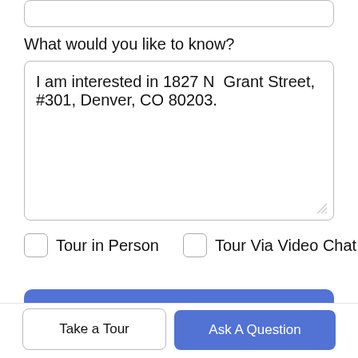[Figure (screenshot): Top of a form input box (partially visible at top of page)]
What would you like to know?
I am interested in 1827 N Grant Street, #301, Denver, CO 80203.
Tour in Person
Tour Via Video Chat
Submit
Disclaimer: By entering your information and submitting this form, you agree to our Terms of Use and Privacy Policy and that you may be contacted by phone, text message, and email about your inquiry.
Take a Tour
Ask A Question